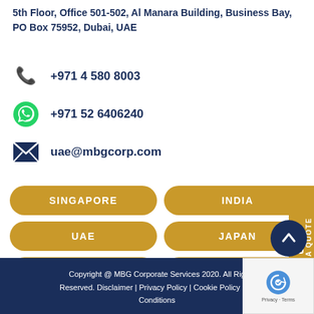5th Floor, Office 501-502, Al Manara Building, Business Bay, PO Box 75952, Dubai, UAE
+971 4 580 8003
+971 52 6406240
uae@mbgcorp.com
SINGAPORE
INDIA
UAE
JAPAN
GERMANY
CHINA
Copyright @ MBG Corporate Services 2020. All Rights Reserved. Disclaimer | Privacy Policy | Cookie Policy | Terms & Conditions